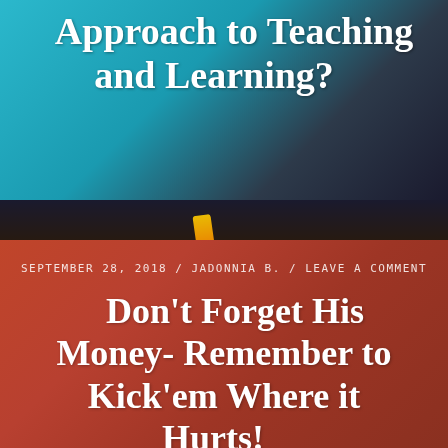Approach to Teaching and Learning?
[Figure (photo): Background photo of a person running on a track, with teal/blue tones in upper section and dark warm tones in lower section]
SEPTEMBER 28, 2018 / JADONNIA B. / LEAVE A COMMENT
Don’t Forget His Money- Remember to Kick’em Where it Hurts!